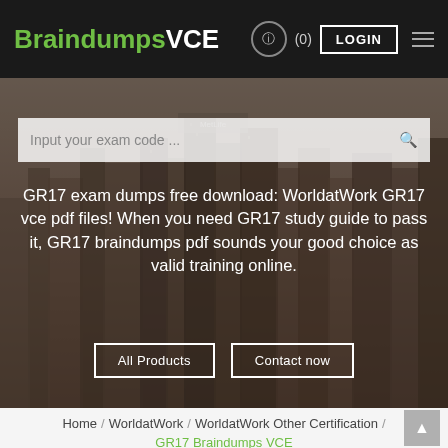BraindumpsVCE  (0)  LOGIN
[Figure (photo): City skyline background with tall skyscrapers, semi-transparent dark overlay]
Input your exam code ...
GR17 exam dumps free download: WorldatWork GR17 vce pdf files! When you need GR17 study guide to pass it, GR17 braindumps pdf sounds your good choice as valid training online.
All Products
Contact now
Home / WorldatWork / WorldatWork Other Certification / GR17 Braindumps VCE